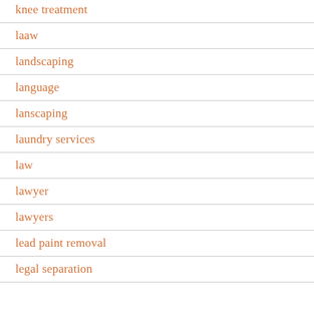knee treatment
laaw
landscaping
language
lanscaping
laundry services
law
lawyer
lawyers
lead paint removal
legal separation